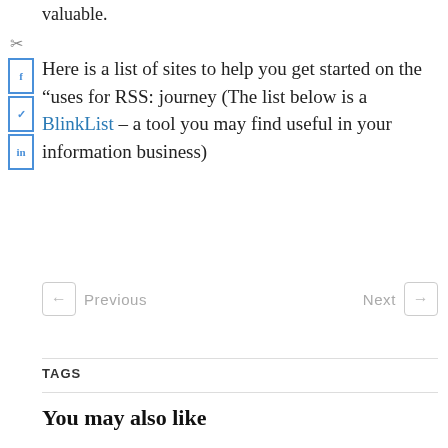valuable.
Here is a list of sites to help you get started on the “uses for RSS: journey (The list below is a BlinkList – a tool you may find useful in your information business)
Previous   Next
TAGS
You may also like